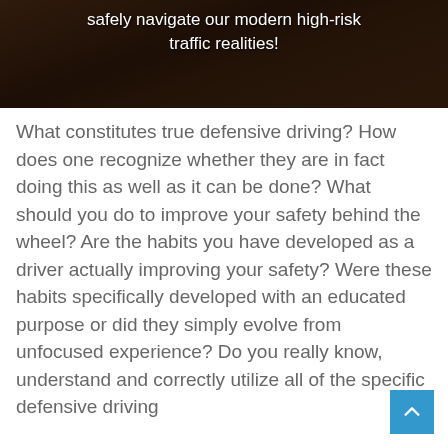[Figure (photo): Dark photo of a car interior/road scene at night with white text overlay reading 'safely navigate our modern high-risk traffic realities!']
What constitutes true defensive driving? How does one recognize whether they are in fact doing this as well as it can be done? What should you do to improve your safety behind the wheel? Are the habits you have developed as a driver actually improving your safety? Were these habits specifically developed with an educated purpose or did they simply evolve from unfocused experience? Do you really know, understand and correctly utilize all of the specific defensive driving